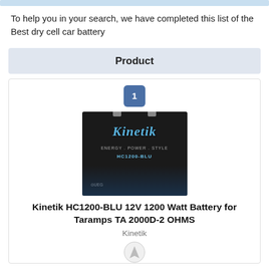To help you in your search, we have completed this list of the Best dry cell car battery
Product
[Figure (photo): Photo of a Kinetik HC1200-BLU 12V car battery, black casing with blue script logo reading 'Kinetik', tagline 'ENERGY. POWER. STYLE', model number HC1200-BLU]
Kinetik HC1200-BLU 12V 1200 Watt Battery for Taramps TA 2000D-2 OHMS
Kinetik